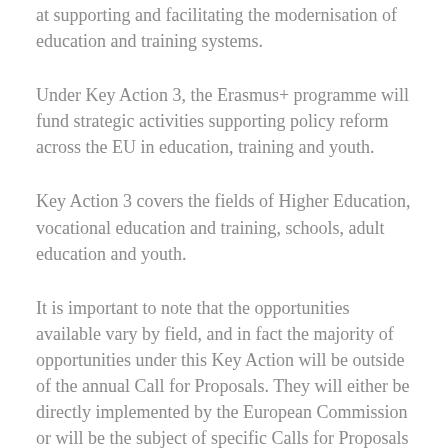at supporting and facilitating the modernisation of education and training systems.
Under Key Action 3, the Erasmus+ programme will fund strategic activities supporting policy reform across the EU in education, training and youth.
Key Action 3 covers the fields of Higher Education, vocational education and training, schools, adult education and youth.
It is important to note that the opportunities available vary by field, and in fact the majority of opportunities under this Key Action will be outside of the annual Call for Proposals. They will either be directly implemented by the European Commission or will be the subject of specific Calls for Proposals published throughout the programme duration.
Key Action 3 aims to help Europe achieve the goals set out in